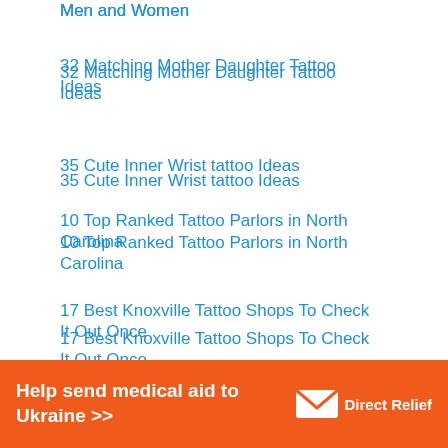Men and Women
32 Matching Mother Daughter Tattoo Ideas
35 Cute Inner Wrist tattoo Ideas
10 Top Ranked Tattoo Parlors in North Carolina
17 Best Knoxville Tattoo Shops To Check It Out Once
27 Elegant Shoulder Vine Tattoos For Women
20 Stylish Tree Tattoos On Shoulder
[Figure (infographic): Orange banner advertisement reading 'Help send medical aid to Ukraine >>' with Direct Relief logo on the right side]